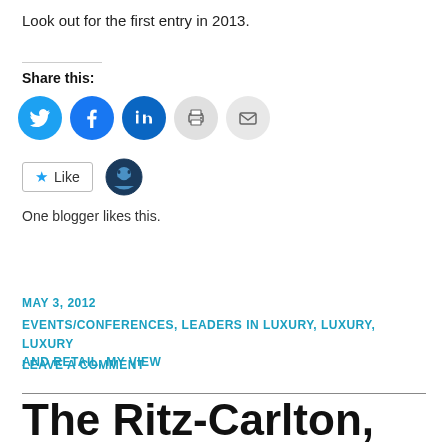Look out for the first entry in 2013.
Share this:
[Figure (infographic): Row of five social sharing icon circles: Twitter (blue bird), Facebook (blue f), LinkedIn (blue in), Print (grey printer), Email (grey envelope)]
[Figure (infographic): Like button with blue star and text 'Like', followed by a cartoon blogger avatar smiley icon]
One blogger likes this.
MAY 3, 2012
EVENTS/CONFERENCES, LEADERS IN LUXURY, LUXURY, LUXURY AND RETAIL, MY VIEW
LEAVE A COMMENT
The Ritz-Carlton,